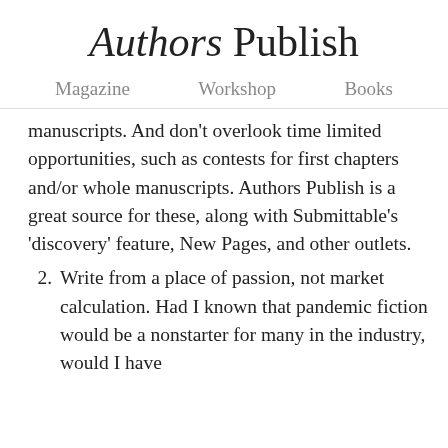Authors Publish
Magazine    Workshop    Books
manuscripts. And don't overlook time limited opportunities, such as contests for first chapters and/or whole manuscripts. Authors Publish is a great source for these, along with Submittable's 'discovery' feature, New Pages, and other outlets.
2. Write from a place of passion, not market calculation. Had I known that pandemic fiction would be a nonstarter for many in the industry, would I have